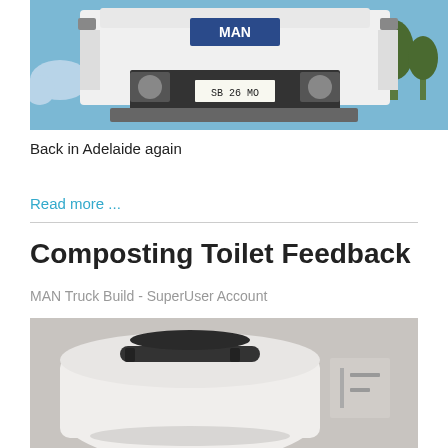[Figure (photo): Front view of a white MAN truck with license plate SB 26 MO against a blue sky with trees in background]
Back in Adelaide again
Read more ...
Composting Toilet Feedback
MAN Truck Build - SuperUser Account
[Figure (photo): Close-up photo of a white composting toilet with black handle and components visible]